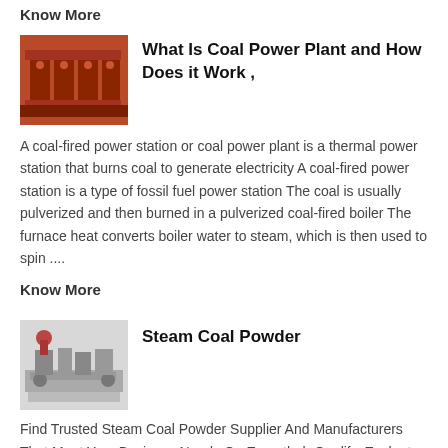Know More
[Figure (photo): Red industrial coal boiler equipment]
What Is Coal Power Plant and How Does it Work ,
A coal-fired power station or coal power plant is a thermal power station that burns coal to generate electricity A coal-fired power station is a type of fossil fuel power station The coal is usually pulverized and then burned in a pulverized coal-fired boiler The furnace heat converts boiler water to steam, which is then used to spin ....
Know More
[Figure (photo): Industrial steam coal powder machinery on a cart]
Steam Coal Powder
Find Trusted Steam Coal Powder Supplier And Manufacturers That Meet Your Business Needs On Exporthub Qualify, Evaluate, Shortlist And Contact Steam Coal Powder Companies On Our Free Supplier Directory And Product Sourcing Platform...
Know More